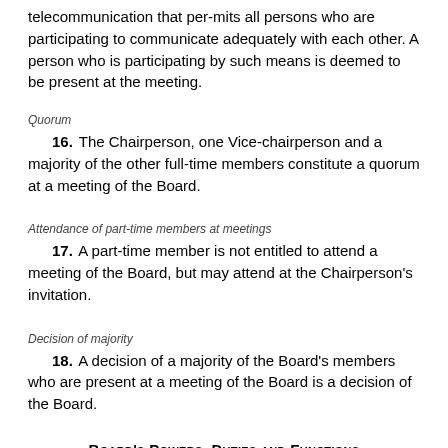telecommunication that per-mits all persons who are participating to communicate adequately with each other. A person who is participating by such means is deemed to be present at the meeting.
Quorum
16. The Chairperson, one Vice-chairperson and a majority of the other full-time members constitute a quorum at a meeting of the Board.
Attendance of part-time members at meetings
17. A part-time member is not entitled to attend a meeting of the Board, but may attend at the Chairperson's invitation.
Decision of majority
18. A decision of a majority of the Board's members who are present at a meeting of the Board is a decision of the Board.
Board's Powers, Duties and Functions
Powers, duties and functions
19. The Board is to exercise the powers and perform the